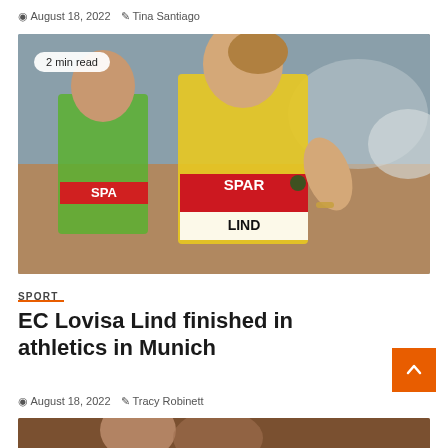August 18, 2022  Tina Santiago
[Figure (photo): Two female athletes running in a track race. One wears a green SPAR jersey, the other wears a yellow SPAR jersey with 'LIND' visible on her bib. Badge overlay reads '2 min read'.]
SPORT
EC Lovisa Lind finished in athletics in Munich
August 18, 2022  Tracy Robinett
[Figure (photo): Partial photo of another article at the bottom of the page.]